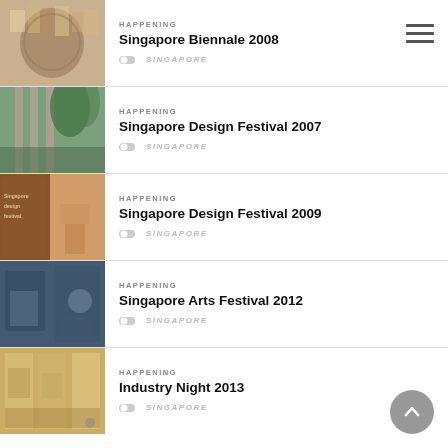HAPPENING | Singapore Biennale 2008 | SINGAPORE
HAPPENING | Singapore Design Festival 2007 | SINGAPORE
HAPPENING | Singapore Design Festival 2009 | SINGAPORE
HAPPENING | Singapore Arts Festival 2012 | SINGAPORE
HAPPENING | Industry Night 2013 | SINGAPORE